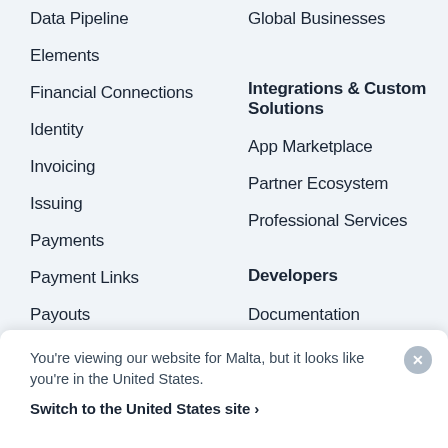Data Pipeline
Elements
Financial Connections
Identity
Invoicing
Issuing
Payments
Payment Links
Payouts
Pricing
Radar
Revenue Recognition
Global Businesses
Integrations & Custom Solutions
App Marketplace
Partner Ecosystem
Professional Services
Developers
Documentation
API reference
You're viewing our website for Malta, but it looks like you're in the United States.
Switch to the United States site ›